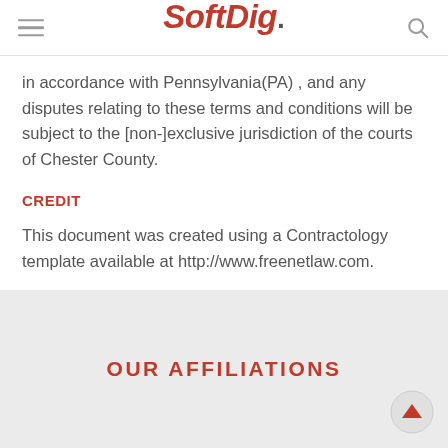SoftDig.
in accordance with Pennsylvania(PA) , and any disputes relating to these terms and conditions will be subject to the [non-]exclusive jurisdiction of the courts of Chester County.
CREDIT
This document was created using a Contractology template available at http://www.freenetlaw.com.
OUR AFFILIATIONS